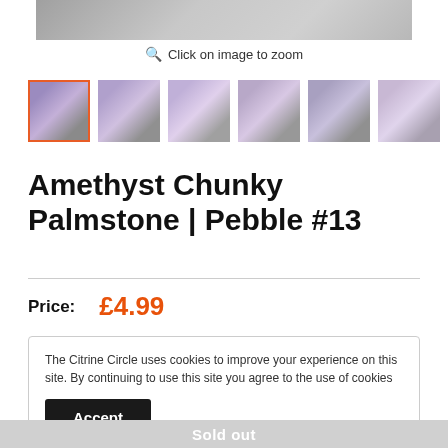[Figure (photo): Top portion of hand holding amethyst palmstone, partially visible at top of page]
Click on image to zoom
[Figure (photo): Six thumbnail images of amethyst chunky palmstone pebble #13, first thumbnail highlighted with orange border]
Amethyst Chunky Palmstone | Pebble #13
Price: £4.99
The Citrine Circle uses cookies to improve your experience on this site. By continuing to use this site you agree to the use of cookies
Accept
Sold out